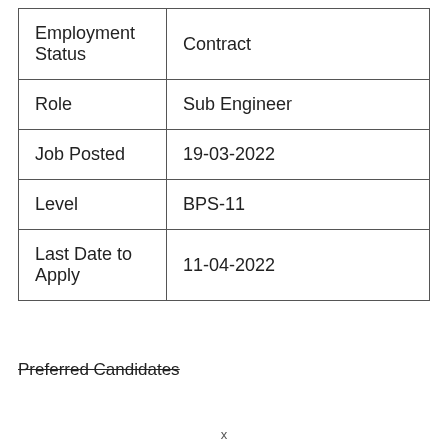| Employment Status | Contract |
| Role | Sub Engineer |
| Job Posted | 19-03-2022 |
| Level | BPS-11 |
| Last Date to Apply | 11-04-2022 |
Preferred Candidates